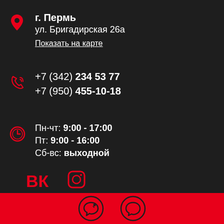г. Пермь
ул. Бригадирская 26а

Показать на карте
+7 (342) 234 53 77
+7 (950) 455-10-18
Пн-чт: 9:00 - 17:00
Пт: 9:00 - 16:00
Сб-вс: выходной
[Figure (infographic): Social media icons: VK and Instagram above footer; Viber and WhatsApp icons in red footer bar]